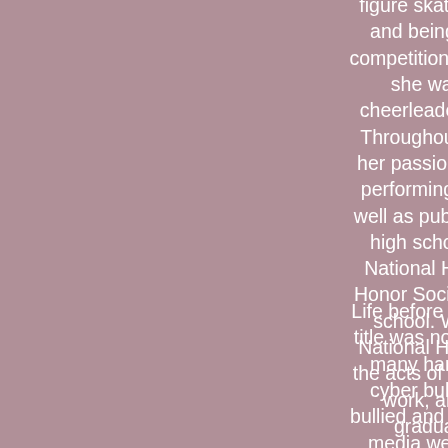figure skating, skipping 2-3 levels at a time and being awarded a silver medal in her competition! As for high school cheerleading, she was listed as one of the Top 20 cheerleaders in the state of Rhode Island. Throughout these activities, Alexa realized her passion is being in front of an audience performing. This is still Alexa's passion, as well as public speaking. In her junior year of high school, Alexa was inducted into the National Honor Society and Rhode Island Honor Society for her hard work and GPA in school. Within the time she spent in the National Honor Society she began to enjoy the acts of community service and volunteer work, and planned to continue it after graduating and throughout her life.
Life before the Miss Rhode Island Teen USA title was not the easiest; Alexa experienced many hardships. In 6th grade Alexa was cyber bullied along with being physically bullied and threatened severely over a social media website, leaving her in tears after school everyday. Fortunately, Alexa and her parents took the right precautions, and she even happened to appear on a special episode of 48 Hours about bullying where she spoke about her experience at 12 years